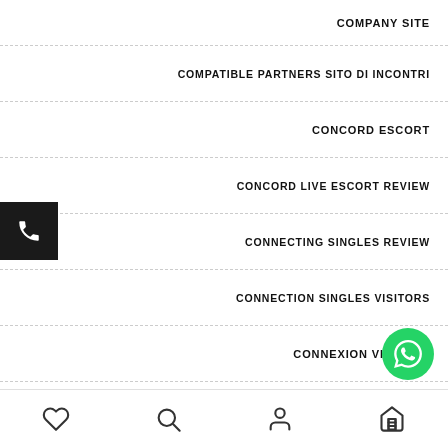COMPANY SITE
COMPATIBLE PARTNERS SITO DI INCONTRI
CONCORD ESCORT
CONCORD LIVE ESCORT REVIEW
CONNECTING SINGLES REVIEW
CONNECTION SINGLES VISITORS
CONNEXION VISITORS
CONSE...